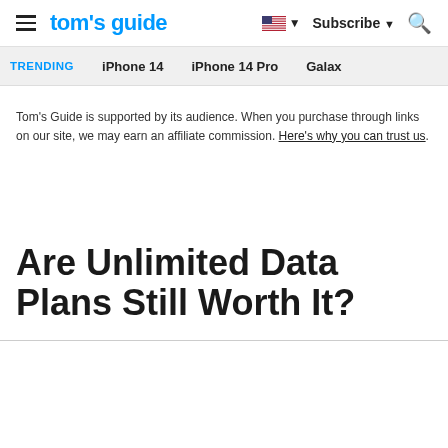tom's guide | Subscribe | Search
TRENDING   iPhone 14   iPhone 14 Pro   Galaxy
Tom's Guide is supported by its audience. When you purchase through links on our site, we may earn an affiliate commission. Here's why you can trust us.
Are Unlimited Data Plans Still Worth It?